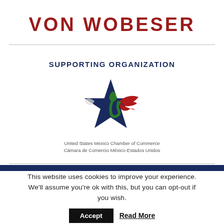VON WOBESER
SUPPORTING ORGANIZATION
[Figure (logo): United States Mexico Chamber of Commerce logo — a star with eagle/serpent motif in navy, green, and red]
United States Mexico Chamber of Commerce
Cámara de Comercio México-Estados Unidos
This website uses cookies to improve your experience. We'll assume you're ok with this, but you can opt-out if you wish.
Accept   Read More